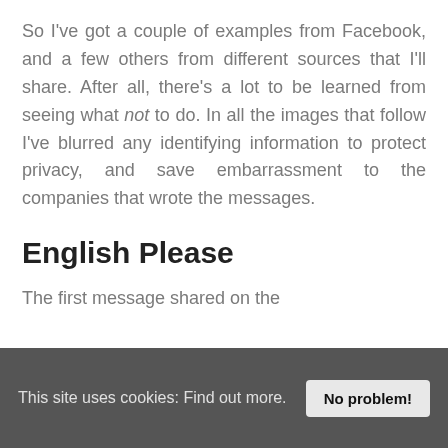So I've got a couple of examples from Facebook, and a few others from different sources that I'll share. After all, there's a lot to be learned from seeing what not to do. In all the images that follow I've blurred any identifying information to protect privacy, and save embarrassment to the companies that wrote the messages.
English Please
The first message shared on the
This site uses cookies: Find out more.